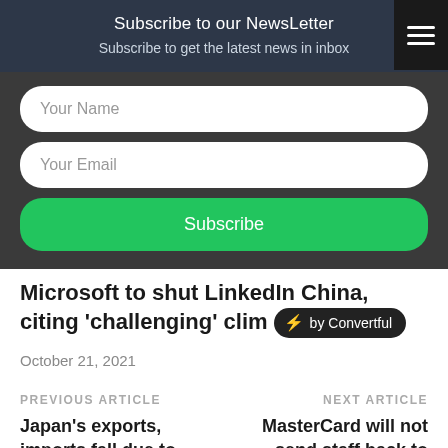Subscribe to our NewsLetter
Subscribe to get the latest news in inbox
Your Name
Your Email
Subscribe
Microsoft to shut LinkedIn China, citing 'challenging' clim
October 21, 2021
PREVIOUS ARTICLE
Japan's exports, imports fall due to pandemic
NEXT ARTICLE
MasterCard will not send staff back to offices without coronavirus